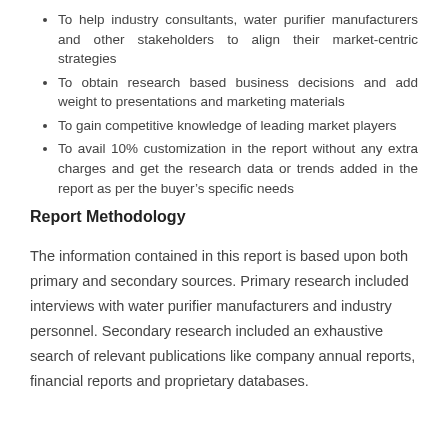To help industry consultants, water purifier manufacturers and other stakeholders to align their market-centric strategies
To obtain research based business decisions and add weight to presentations and marketing materials
To gain competitive knowledge of leading market players
To avail 10% customization in the report without any extra charges and get the research data or trends added in the report as per the buyer’s specific needs
Report Methodology
The information contained in this report is based upon both primary and secondary sources. Primary research included interviews with water purifier manufacturers and industry personnel. Secondary research included an exhaustive search of relevant publications like company annual reports, financial reports and proprietary databases.